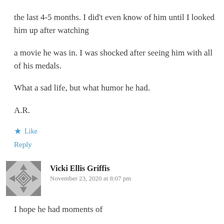the last 4-5 months. I didn't even know of him until I looked him up after watching
a movie he was in. I was shocked after seeing him with all of his medals.
What a sad life, but what humor he had.
A.R.
★ Like
Reply
Vicki Ellis Griffis
November 23, 2020 at 8:07 pm
I hope he had moments of